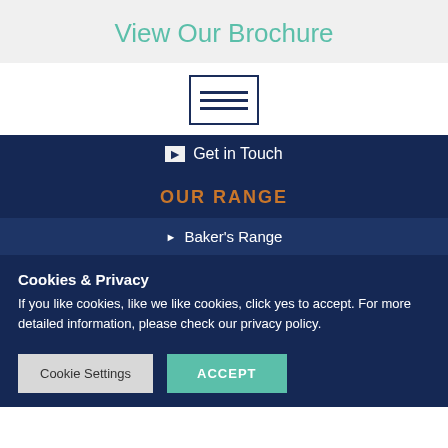View Our Brochure
[Figure (illustration): Brochure icon: dark navy bordered rectangle with three horizontal lines inside]
Get in Touch
OUR RANGE
Baker's Range
Cookies & Privacy
If you like cookies, like we like cookies, click yes to accept. For more detailed information, please check our privacy policy.
Cookie Settings | ACCEPT